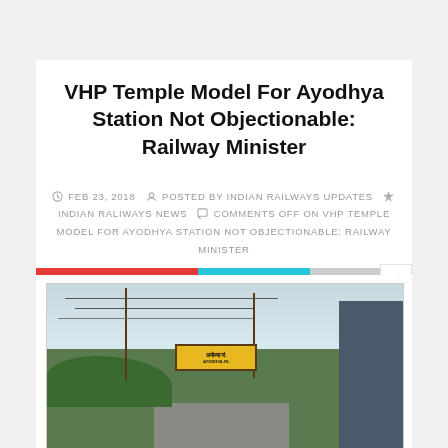VHP Temple Model For Ayodhya Station Not Objectionable: Railway Minister
FEB 23, 2018  POSTED BY INDIAN RAILWAYS UPDATES  INDIAN RALIWAYS NEWS  COMMENTS OFF ON VHP TEMPLE MODEL FOR AYODHYA STATION NOT OBJECTIONABLE: RAILWAY MINISTER
[Figure (photo): Photograph of Ayodhya Junction railway station sign (yellow board with Hindi and English text reading Ayodhya Jn.) on a train platform, with trees, power lines and poles in the background, and a train carriage visible on the right.]